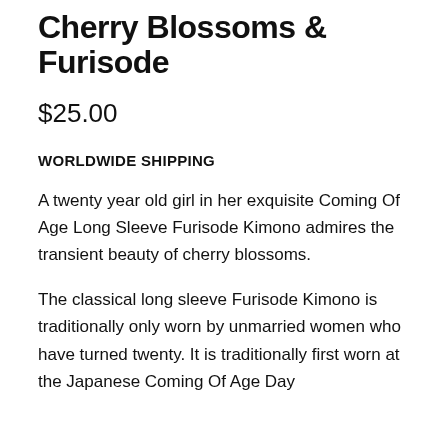Cherry Blossoms & Furisode
$25.00
WORLDWIDE SHIPPING
A twenty year old girl in her exquisite Coming Of Age Long Sleeve Furisode Kimono admires the transient beauty of cherry blossoms.
The classical long sleeve Furisode Kimono is traditionally only worn by unmarried women who have turned twenty. It is traditionally first worn at the Japanese Coming Of Age Day